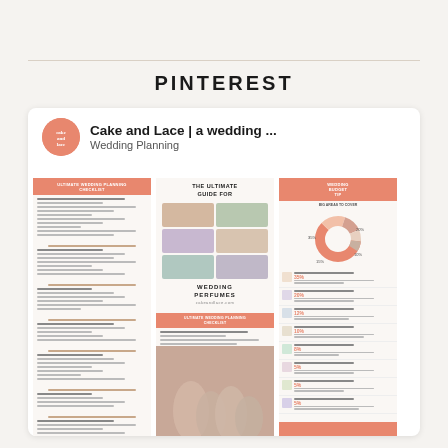PINTEREST
[Figure (screenshot): Pinterest card showing 'Cake and Lace | a wedding ...' board with Wedding Planning content. Three-column preview shows: wedding planning checklist documents (left), wedding perfumes guide with photo grid and 'THE ULTIMATE GUIDE FOR WEDDING PERFUMES' text (middle), wedding budget donut chart and icon checklist (right). A photo of hands appears in bottom-right.]